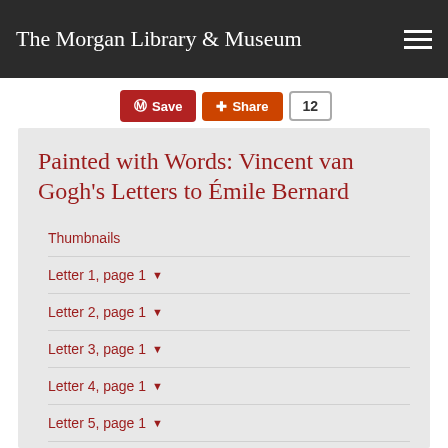The Morgan Library & Museum
Save  Share  12
Painted with Words: Vincent van Gogh's Letters to Émile Bernard
Thumbnails
Letter 1, page 1
Letter 2, page 1
Letter 3, page 1
Letter 4, page 1
Letter 5, page 1